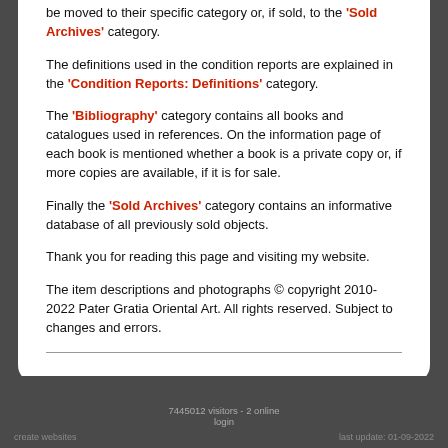be moved to their specific category or, if sold, to the 'Sold Archives' category.
The definitions used in the condition reports are explained in the 'Condition Reports: Definitions' category.
The 'Bibliography' category contains all books and catalogues used in references. On the information page of each book is mentioned whether a book is a private copy or, if more copies are available, if it is for sale.
Finally the 'Sold Archives' category contains an informative database of all previously sold objects.
Thank you for reading this page and visiting my website.
The item descriptions and photographs © copyright 2010-2022 Pater Gratia Oriental Art. All rights reserved. Subject to changes and errors.
7445012 visitors - 2 online
login
create websites                    last update: 01-09-2022